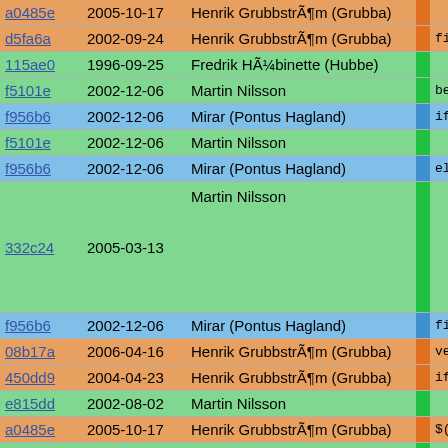| hash | date | author |  | code |
| --- | --- | --- | --- | --- |
| a0485e | 2005-10-17 | Henrik GrubbstrÃ¶m (Grubba) | orange |  |
| d5fa6a | 2002-09-24 | Henrik GrubbstrÃ¶m (Grubba) | orange | fi |
| 115ae0 | 1996-09-25 | Fredrik HÃ¼binette (Hubbe) | green |  |
| f5101e | 2002-12-06 | Martin Nilsson | green | bench: tin |
| f956b6 | 2002-12-06 | Mirar (Pontus Hagland) | blue | if |
| f5101e | 2002-12-06 | Martin Nilsson | green |  |
| f956b6 | 2002-12-06 | Mirar (Pontus Hagland) | blue | el |
| 332c24 | 2005-03-13 | Martin Nilsson | green |  |
| f956b6 | 2002-12-06 | Mirar (Pontus Hagland) | blue | fi |
| 08b17a | 2006-04-16 | Henrik GrubbstrÃ¶m (Grubba) | orange | verify_ins |
| 450dd9 | 2004-04-23 | Henrik GrubbstrÃ¶m (Grubba) | orange | if |
| e815dd | 2002-08-02 | Martin Nilsson | green |  |
| a0485e | 2005-10-17 | Henrik GrubbstrÃ¶m (Grubba) | orange | $( |
| 90e978 | 1999-01-31 | Fredrik HÃ¼binette (Hubbe) | green |  |
| af5647 | 1996-12-03 | Fredrik HÃ¼binette (Hubbe) | green | check: ver |